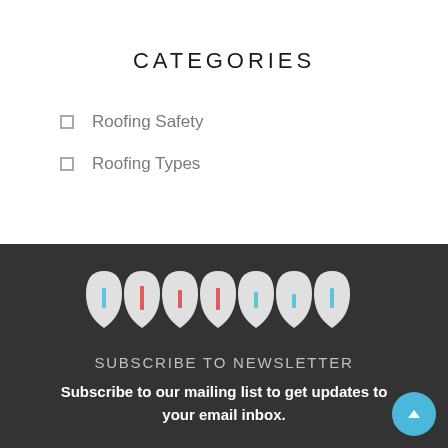CATEGORIES
Roofing Safety
Roofing Types
[Figure (logo): Website logo composed of leaf/shield shaped icons in a row with colored vertical bar accents]
SUBSCRIBE TO NEWSLETTER
Subscribe to our mailing list to get updates to your email inbox.